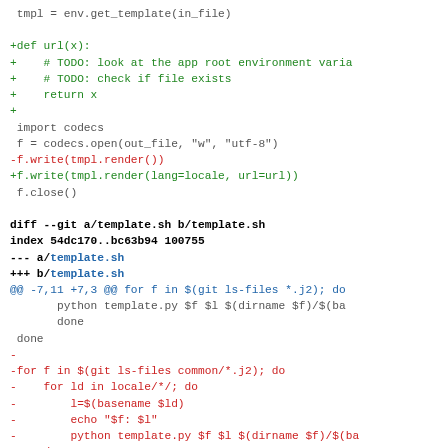Code diff showing changes to template.py and template.sh files
tmpl = env.get_template(in_file)

+def url(x):
+    # TODO: look at the app root environment varia
+    # TODO: check if file exists
+    return x
+
 import codecs
 f = codecs.open(out_file, "w", "utf-8")
-f.write(tmpl.render())
+f.write(tmpl.render(lang=locale, url=url))
 f.close()

diff --git a/template.sh b/template.sh
index 54dc170..bc63b94 100755
--- a/template.sh
+++ b/template.sh
@@ -7,11 +7,3 @@ for f in $(git ls-files *.j2); do
        python template.py $f $l $(dirname $f)/$(ba
        done
  done
-
-for f in $(git ls-files common/*.j2); do
-    for ld in locale/*/; do
-        l=$(basename $ld)
-        echo "$f: $l"
-        python template.py $f $l $(dirname $f)/$(ba
-    done
-done

diff --git a/web-common b/web-common